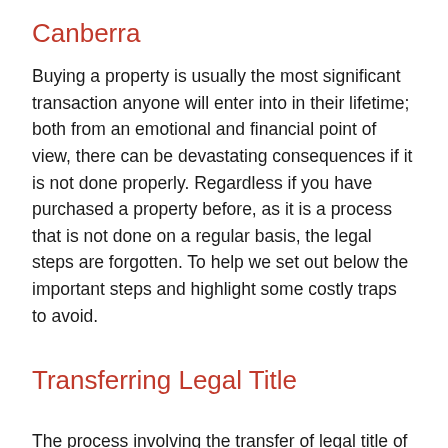Canberra
Buying a property is usually the most significant transaction anyone will enter into in their lifetime; both from an emotional and financial point of view, there can be devastating consequences if it is not done properly. Regardless if you have purchased a property before, as it is a process that is not done on a regular basis, the legal steps are forgotten. To help we set out below the important steps and highlight some costly traps to avoid.
Transferring Legal Title
The process involving the transfer of legal title of real property from one person to